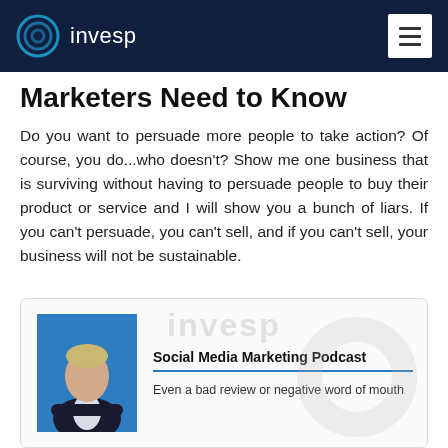invesp
Marketers Need to Know
Do you want to persuade more people to take action? Of course, you do...who doesn't? Show me one business that is surviving without having to persuade people to buy their product or service and I will show you a bunch of liars. If you can't persuade, you can't sell, and if you can't sell, your business will not be sustainable.
[Figure (other): Embedded card with invesp watermark, a photo of a man in a suit with arms crossed, the title 'Social Media Marketing Podcast' with a blue underline, and partial text 'Even a bad review or negative word of mouth']